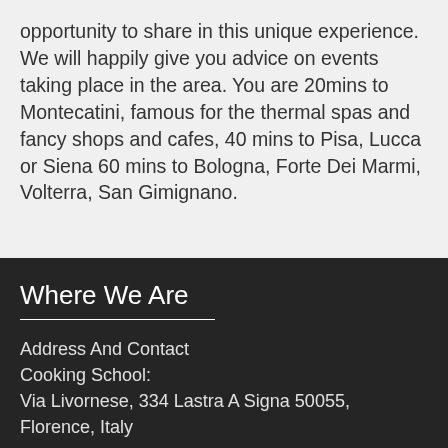opportunity to share in this unique experience. We will happily give you advice on events taking place in the area. You are 20mins to Montecatini, famous for the thermal spas and fancy shops and cafes, 40 mins to Pisa, Lucca or Siena 60 mins to Bologna, Forte Dei Marmi, Volterra, San Gimignano.
Where We Are
Address And Contact Cooking School:
Via Livornese, 334 Lastra A Signa 50055, Florence, Italy